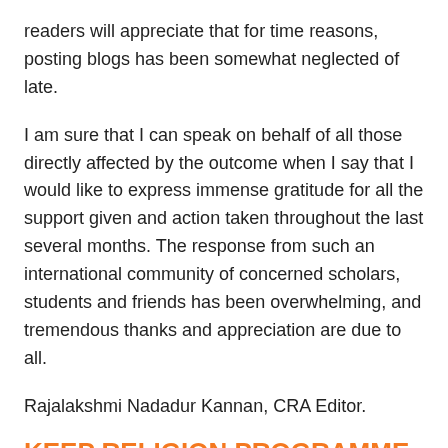readers will appreciate that for time reasons, posting blogs has been somewhat neglected of late.
I am sure that I can speak on behalf of all those directly affected by the outcome when I say that I would like to express immense gratitude for all the support given and action taken throughout the last several months. The response from such an international community of concerned scholars, students and friends has been overwhelming, and tremendous thanks and appreciation are due to all.
Rajalakshmi Nadadur Kannan, CRA Editor.
KEEP RELIGION PROGRAMME AT STIRLING UNIVERSITY
[Figure (infographic): Update and Agreement labels with large orange number 2071 and partial text about staff moving on]